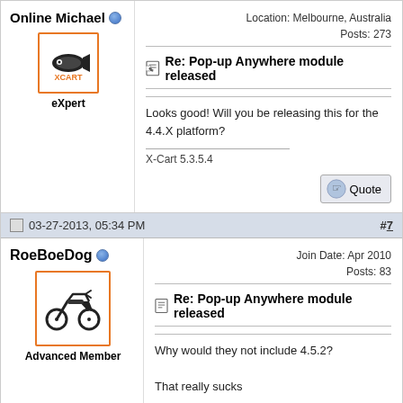Online Michael
Location: Melbourne, Australia
Posts: 273
eXpert
Re: Pop-up Anywhere module released
Looks good! Will you be releasing this for the 4.4.X platform?
X-Cart 5.3.5.4
03-27-2013, 05:34 PM   #7
RoeBoeDog
Join Date: Apr 2010
Posts: 83
Advanced Member
Re: Pop-up Anywhere module released
Why would they not include 4.5.2?
That really sucks
Gavin Trippe
4.6.0